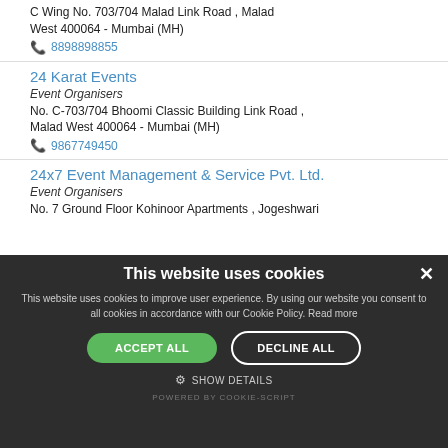C Wing No. 703/704 Malad Link Road , Malad West 400064 - Mumbai (MH)
8898898855
24 Karat Events
Event Organisers
No. C-703/704 Bhoomi Classic Building Link Road , Malad West 400064 - Mumbai (MH)
9867749450
24x7 Event Management & Service Pvt. Ltd.
Event Organisers
No. 7 Ground Floor Kohinoor Apartments , Jogeshwari
This website uses cookies
This website uses cookies to improve user experience. By using our website you consent to all cookies in accordance with our Cookie Policy. Read more
ACCEPT ALL
DECLINE ALL
SHOW DETAILS
POWERED BY COOKIE-SCRIPT